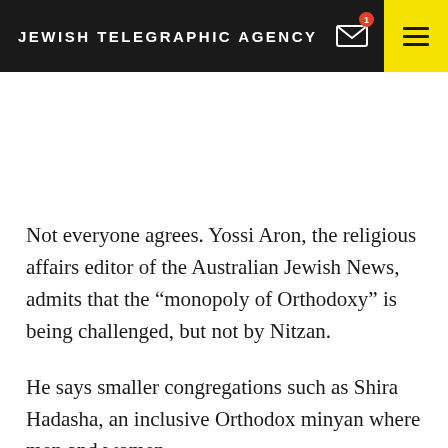JEWISH TELEGRAPHIC AGENCY
Not everyone agrees. Yossi Aron, the religious affairs editor of the Australian Jewish News, admits that the “monopoly of Orthodoxy” is being challenged, but not by Nitzan.
He says smaller congregations such as Shira Hadasha, an inclusive Orthodox minyan where men and women